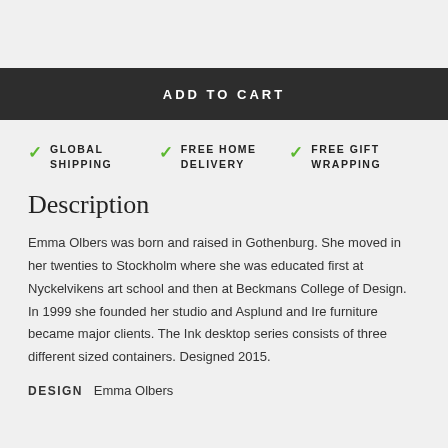ADD TO CART
GLOBAL SHIPPING
FREE HOME DELIVERY
FREE GIFT WRAPPING
Description
Emma Olbers was born and raised in Gothenburg. She moved in her twenties to Stockholm where she was educated first at Nyckelvikens art school and then at Beckmans College of Design. In 1999 she founded her studio and Asplund and Ire furniture became major clients. The Ink desktop series consists of three different sized containers. Designed 2015.
DESIGN  Emma Olbers